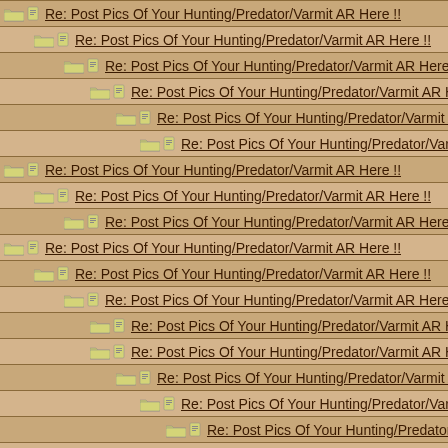Re: Post Pics Of Your Hunting/Predator/Varmit AR Here !!
Re: Post Pics Of Your Hunting/Predator/Varmit AR Here !!
Re: Post Pics Of Your Hunting/Predator/Varmit AR Here !!
Re: Post Pics Of Your Hunting/Predator/Varmit AR Here !!
Re: Post Pics Of Your Hunting/Predator/Varmit AR Here
Re: Post Pics Of Your Hunting/Predator/Varmit AR He
Re: Post Pics Of Your Hunting/Predator/Varmit AR Here !!
Re: Post Pics Of Your Hunting/Predator/Varmit AR Here !!
Re: Post Pics Of Your Hunting/Predator/Varmit AR Here !!
Re: Post Pics Of Your Hunting/Predator/Varmit AR Here !!
Re: Post Pics Of Your Hunting/Predator/Varmit AR Here !!
Re: Post Pics Of Your Hunting/Predator/Varmit AR Here !!
Re: Post Pics Of Your Hunting/Predator/Varmit AR Here
Re: Post Pics Of Your Hunting/Predator/Varmit AR Here
Re: Post Pics Of Your Hunting/Predator/Varmit AR He
Re: Post Pics Of Your Hunting/Predator/Varmit AR H
Re: Post Pics Of Your Hunting/Predator/Varmit AR
Re: Post Pics Of Your Hunting/Predator/Varmit